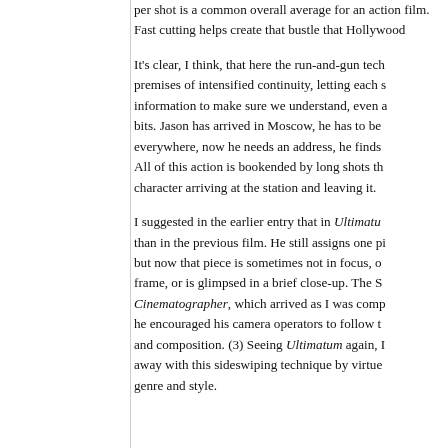per shot is a common overall average for an action film. Fast cutting helps create that bustle that Hollywood…
It's clear, I think, that here the run-and-gun technique fulfills the premises of intensified continuity, letting each shot carry enough information to make sure we understand, even as we lose other bits. Jason has arrived in Moscow, he has to be somewhere, now he needs an address, he finds it. All of this action is bookended by long shots that show us the character arriving at the station and leaving it.
I suggested in the earlier entry that in Ultimatum… than in the previous film. He still assigns one piece… but now that piece is sometimes not in focus, or at the edge of frame, or is glimpsed in a brief close-up. The Society of the Cinematographer, which arrived as I was composing… he encouraged his camera operators to follow the action… and composition. (3) Seeing Ultimatum again, I… away with this sideswiping technique by virtue… genre and style.